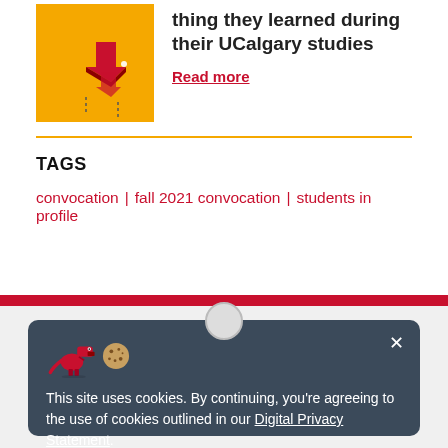[Figure (illustration): Orange square thumbnail with red 3D arrow pointing upper-left and dotted lines, UCalgary article illustration]
thing they learned during their UCalgary studies
Read more
TAGS
convocation | fall 2021 convocation | students in profile
[Figure (illustration): Cookie consent banner with T-rex and cookie icons. Text: This site uses cookies. By continuing, you're agreeing to the use of cookies outlined in our Digital Privacy Statement.]